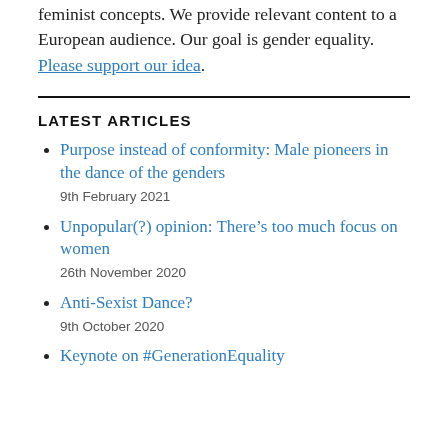feminist concepts. We provide relevant content to a European audience. Our goal is gender equality. Please support our idea.
LATEST ARTICLES
Purpose instead of conformity: Male pioneers in the dance of the genders
9th February 2021
Unpopular(?) opinion: There’s too much focus on women
26th November 2020
Anti-Sexist Dance?
9th October 2020
Keynote on #GenerationEquality